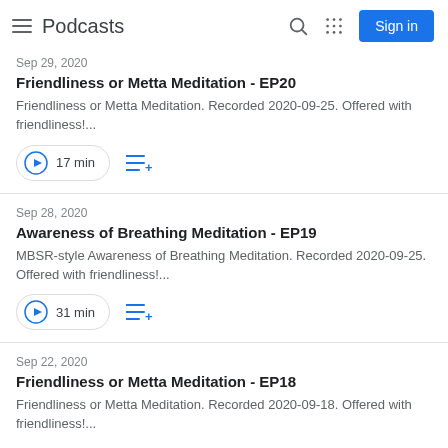Podcasts
Sep 29, 2020
Friendliness or Metta Meditation - EP20
Friendliness or Metta Meditation. Recorded 2020-09-25. Offered with friendliness!...
17 min
Sep 28, 2020
Awareness of Breathing Meditation - EP19
MBSR-style Awareness of Breathing Meditation. Recorded 2020-09-25. Offered with friendliness!...
31 min
Sep 22, 2020
Friendliness or Metta Meditation - EP18
Friendliness or Metta Meditation. Recorded 2020-09-18. Offered with friendliness!...